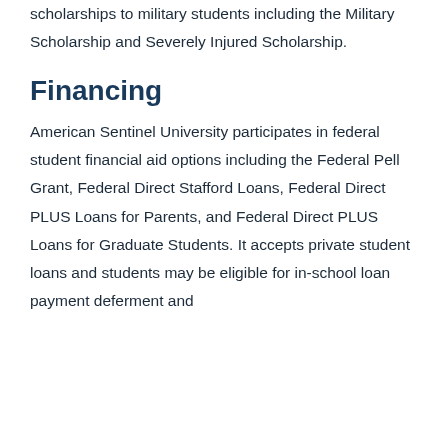American Sentinel University offers scholarships to military students including the Military Scholarship and Severely Injured Scholarship.
Financing
American Sentinel University participates in federal student financial aid options including the Federal Pell Grant, Federal Direct Stafford Loans, Federal Direct PLUS Loans for Parents, and Federal Direct PLUS Loans for Graduate Students. It accepts private student loans and students may be eligible for in-school loan payment deferment and